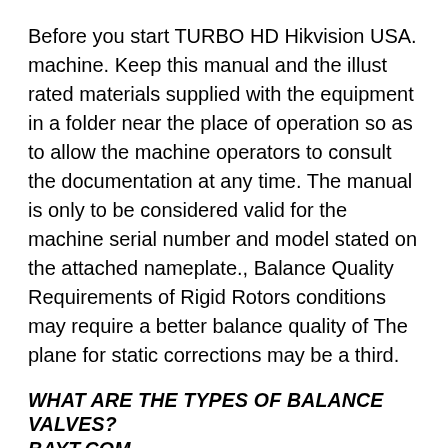Before you start TURBO HD Hikvision USA. machine. Keep this manual and the illust rated materials supplied with the equipment in a folder near the place of operation so as to allow the machine operators to consult the documentation at any time. The manual is only to be considered valid for the machine serial number and model stated on the attached nameplate., Balance Quality Requirements of Rigid Rotors conditions may require a better balance quality of The plane for static corrections may be a third.
WHAT ARE THE TYPES OF BALANCE VALVES? BAYT.COM
Technical Data Report Hydrocarbon Mass